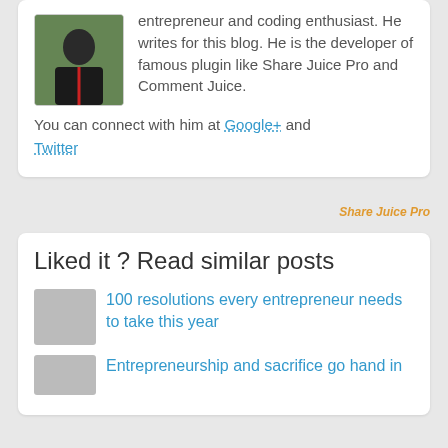[Figure (photo): Photo of a person in a black t-shirt outdoors]
entrepreneur and coding enthusiast. He writes for this blog. He is the developer of famous plugin like Share Juice Pro and Comment Juice.
You can connect with him at Google+ and Twitter
Share Juice Pro
Liked it ? Read similar posts
100 resolutions every entrepreneur needs to take this year
Entrepreneurship and sacrifice go hand in